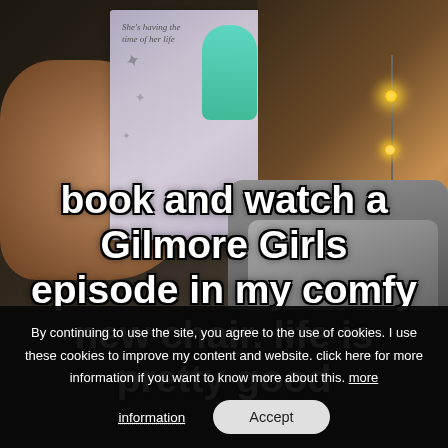[Figure (photo): A person holding a book with a cover showing a cartoon woman in a teal dress and the text 'She's having the time of her life', set against a room background with warm string lights and a cozy gray chair]
book and watch a Gilmore Girls episode in my comfy new chair. life is pretty good
By continuing to use the site, you agree to the use of cookies. I use these cookies to improve my content and website. click here for more information if you want to know more about this. more information